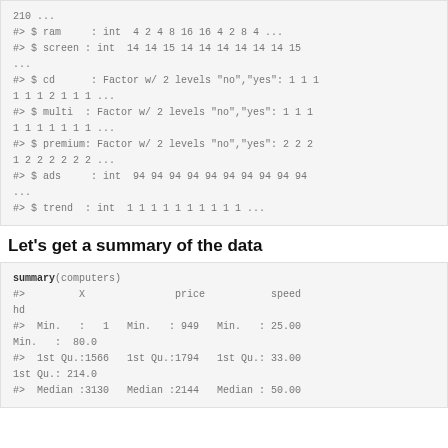#>  $ ram     : int  4 2 4 8 16 16 4 2 8 4 ...
#>  $ screen : int  14 14 15 14 14 14 14 14 14 15 ...
#>  $ cd      : Factor w/ 2 levels "no","yes": 1 1 1 1 1 1 2 1 1 1 ...
#>  $ multi  : Factor w/ 2 levels "no","yes": 1 1 1 1 1 1 1 1 1 1 ...
#>  $ premium: Factor w/ 2 levels "no","yes": 2 2 2 1 2 2 2 2 2 2 ...
#>  $ ads     : int  94 94 94 94 94 94 94 94 94 94 ...
#>  $ trend  : int  1 1 1 1 1 1 1 1 1 1 ...
Let's get a summary of the data
summary(computers)
#>         X               price           speed        hd
#>  Min.   :   1   Min.   : 949   Min.   : 25.00   Min.   :  80.0
#>  1st Qu.:1566   1st Qu.:1794   1st Qu.: 33.00   1st Qu.: 214.0
#>  Median :3130   Median :2144   Median : 50.00